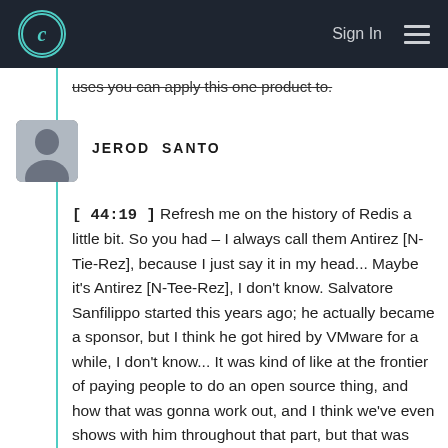Sign In
uses you can apply this one product to.
JEROD SANTO
[ 44:19 ] Refresh me on the history of Redis a little bit. So you had – I always call them Antirez [N-Tie-Rez], because I just say it in my head... Maybe it's Antirez [N-Tee-Rez], I don't know. Salvatore Sanfilippo started this years ago; he actually became a sponsor, but I think he got hired by VMware for a while, I don't know... It was kind of like at the frontier of paying people to do an open source thing, and how that was gonna work out, and I think we've even shows with him throughout that part, but that was years ago; I haven't kept up with where Redis is, except for as a user. Tell